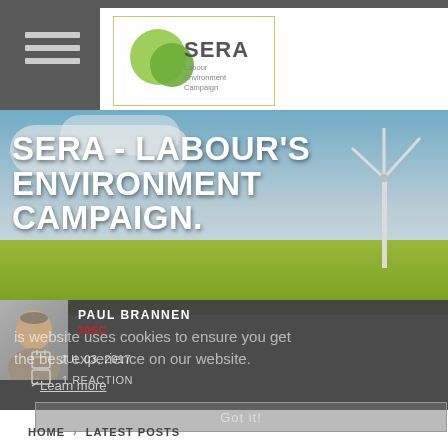[Figure (logo): SERA Labour Environment Campaign logo with green overlapping circles and text]
SERA - LABOUR'S ENVIRONMENT CAMPAIGN.
[Figure (photo): Hero photo of wind turbine in green field under blue sky]
PAUL BRANNEN
30SC
This website uses cookies to ensure you get the best experience on our website.
Learn more
JUL 03, 2017
1 REACTION
Got it!
HOME › LATEST POSTS